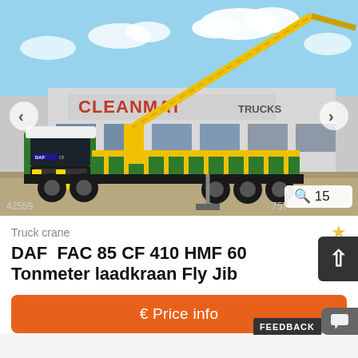[Figure (photo): Green DAF FAC 85 CF 410 truck with yellow HMF 60 Tonmeter laadkraan Fly Jib crane arm extended, parked in front of Cleanmat Trucks dealership building. Photo number 42559, image 757 of gallery, 15 total photos.]
Truck crane
DAF  FAC 85 CF 410 HMF 60 Tonmeter laadkraan Fly Jib
€ Price info
FEEDBACK